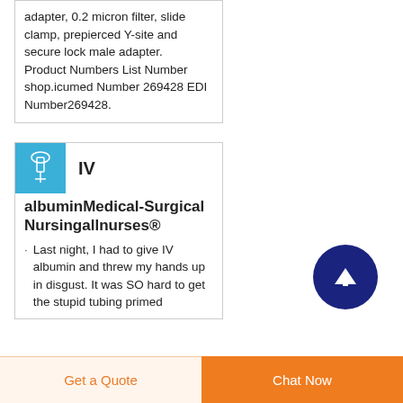adapter, 0.2 micron filter, slide clamp, prepierced Y-site and secure lock male adapter. Product Numbers List Number shop.icumed Number 269428 EDI Number269428.
[Figure (illustration): Blue square thumbnail showing IV tubing product illustration]
IV albumin Medical-Surgical Nursingallnurses®
Last night, I had to give IV albumin and threw my hands up in disgust. It was SO hard to get the stupid tubing primed
Get a Quote
Chat Now